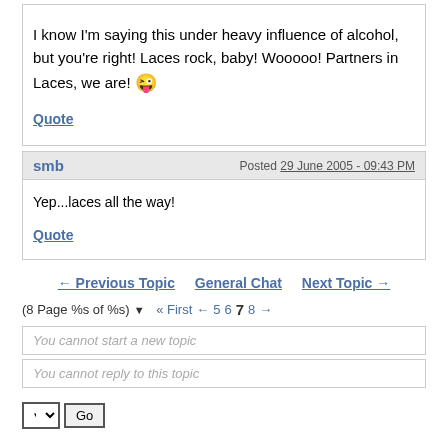I know I'm saying this under heavy influence of alcohol, but you're right! Laces rock, baby! Wooooo! Partners in Laces, we are! 😜
Quote
smb  |  Posted 29 June 2005 - 09:43 PM
Yep...laces all the way!
Quote
← Previous Topic   General Chat   Next Topic →
(8 Page %s of %s) ▼  « First  ←  5  6  7  8  →
You cannot start a new topic
You cannot reply to this topic
Top  Forum Home  Delete My Cookies  Mark Community Read
Community Forum Software by IP.Board